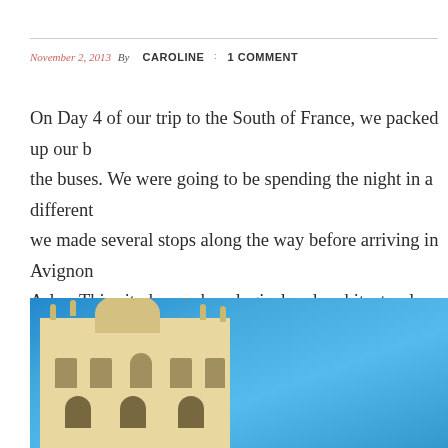November 2, 2013 By CAROLINE : 1 COMMENT
On Day 4 of our trip to the South of France, we packed up our b... the buses. We were going to be spending the night in a different... we made several stops along the way before arriving in Avignon... Arles. This city has archaeological and architectural treasures as... famous artist, Van Gogh. We wandered through the old city…
[Figure (photo): Photograph of a historic European building with ornate Baroque architecture, statues, and a dome against a bright blue sky, likely in Arles or Avignon, France.]